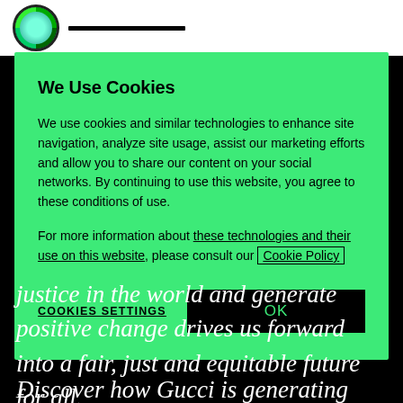[Figure (screenshot): Partial website header with circular logo and dark navigation bar]
We Use Cookies
We use cookies and similar technologies to enhance site navigation, analyze site usage, assist our marketing efforts and allow you to share our content on your social networks. By continuing to use this website, you agree to these conditions of use.
For more information about these technologies and their use on this website, please consult our Cookie Policy
COOKIES SETTINGS
OK
justice in the world and generate positive change drives us forward into a fair, just and equitable future for all.
Discover how Gucci is generating positive change for People